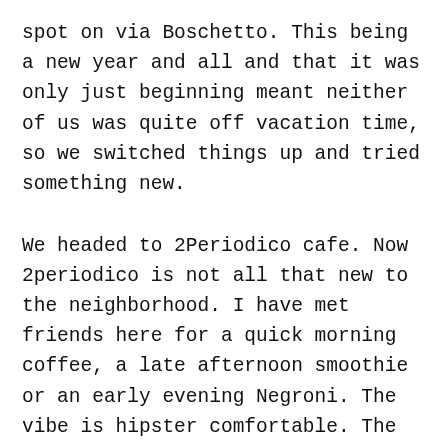spot on via Boschetto. This being a new year and all and that it was only just beginning meant neither of us was quite off vacation time, so we switched things up and tried something new.

We headed to 2Periodico cafe. Now 2periodico is not all that new to the neighborhood. I have met friends here for a quick morning coffee, a late afternoon smoothie or an early evening Negroni. The vibe is hipster comfortable. The